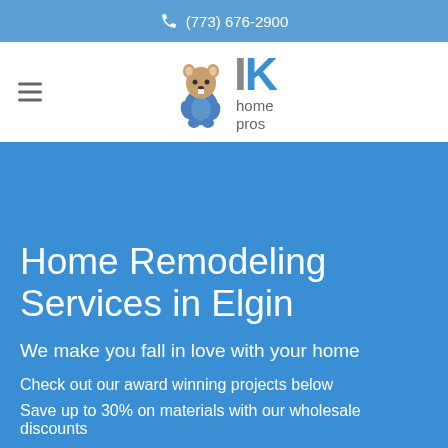(773) 676-2900
[Figure (logo): IK Home Pros logo with cartoon beaver mascot, hamburger menu icon on the left]
Home Remodeling Services in Elgin
We make you fall in love with your home
Check out our award winning projects below
Save up to 30% on materials with our wholesale discounts